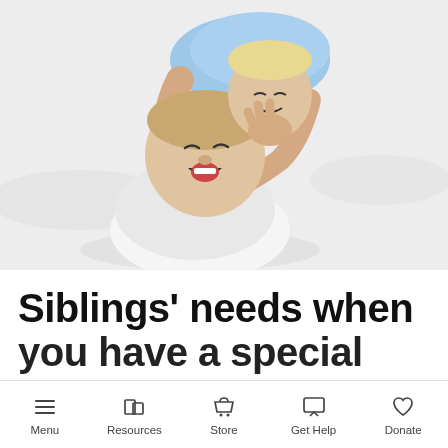[Figure (photo): Two children laughing and playfully wrestling on a white bed, viewed from above. One child in a white t-shirt is laughing with mouth wide open, while the other child in a blue shirt wraps arms around the first child's head.]
Siblings' needs when you have a special
Menu  Resources  Store  Get Help  Donate